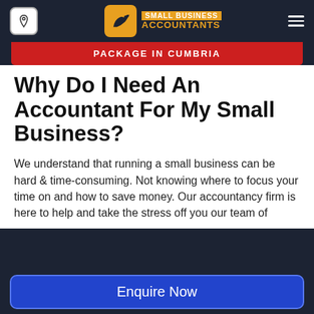[Figure (logo): Small Business Accountants logo with bird icon on orange background and text]
PACKAGE IN CUMBRIA
Why Do I Need An Accountant For My Small Business?
We understand that running a small business can be hard & time-consuming. Not knowing where to focus your time on and how to save money. Our accountancy firm is here to help and take the stress off you our team of
Enquire Now